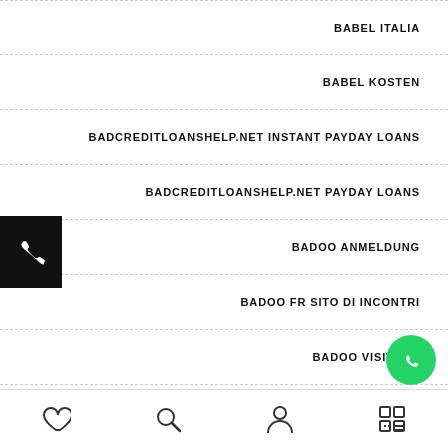BABEL ITALIA
BABEL KOSTEN
BADCREDITLOANSHELP.NET INSTANT PAYDAY LOANS
BADCREDITLOANSHELP.NET PAYDAY LOANS
BADOO ANMELDUNG
BADOO FR SITO DI INCONTRI
BADOO VISITORS
BADOO VS TINDER REVIEWS